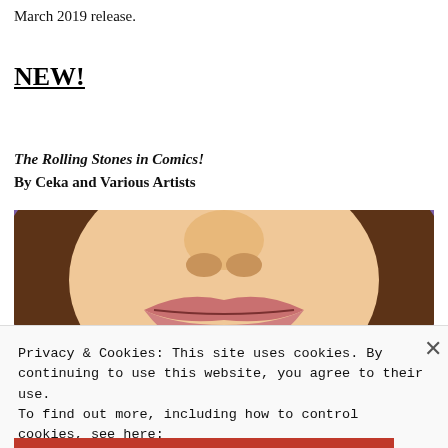March 2019 release.
NEW!
The Rolling Stones in Comics!
By Ceka and Various Artists
[Figure (illustration): Comic book style illustration of a face with large lips and brown hair against a purple background]
Privacy & Cookies: This site uses cookies. By continuing to use this website, you agree to their use.
To find out more, including how to control cookies, see here:
Cookie Policy
Close and accept